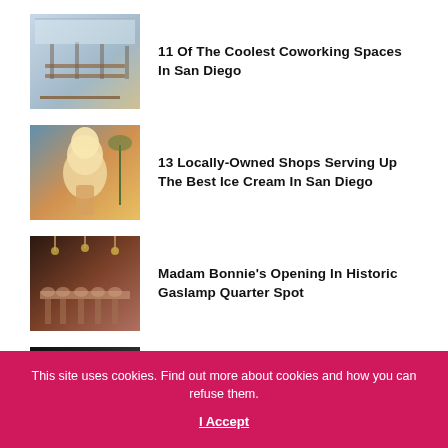11 Of The Coolest Coworking Spaces In San Diego
13 Locally-Owned Shops Serving Up The Best Ice Cream In San Diego
Madam Bonnie’s Opening In Historic Gaslamp Quarter Spot
CH Projects Partners With Folk Arts Rare Records To
This site uses cookies. Find out more about cookies and how you can refuse them.
I Accept